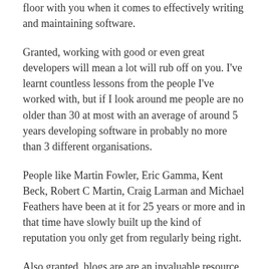floor with you when it comes to effectively writing and maintaining software.
Granted, working with good or even great developers will mean a lot will rub off on you. I've learnt countless lessons from the people I've worked with, but if I look around me people are no older than 30 at most with an average of around 5 years developing software in probably no more than 3 different organisations.
People like Martin Fowler, Eric Gamma, Kent Beck, Robert C Martin, Craig Larman and Michael Feathers have been at it for 25 years or more and in that time have slowly built up the kind of reputation you only get from regularly being right.
Also granted, blogs are are an invaluable resource, but are rarely little more then a meme in someone's head and give you nothing like the deep contextual insight you can get from a well written book. There is also little to assure you that the